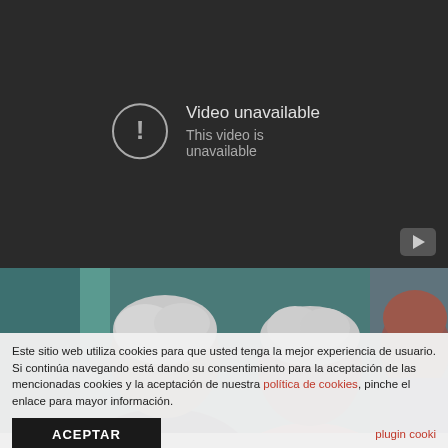[Figure (screenshot): YouTube-style video player showing 'Video unavailable / This video is unavailable' error message on dark background, with a YouTube play button icon in the bottom right corner.]
[Figure (photo): Photograph of two elderly people with grey/white hair seen from behind or slightly from the side, with a blurred background showing a person with red hair.]
Este sitio web utiliza cookies para que usted tenga la mejor experiencia de usuario. Si continúa navegando está dando su consentimiento para la aceptación de las mencionadas cookies y la aceptación de nuestra política de cookies, pinche el enlace para mayor información.